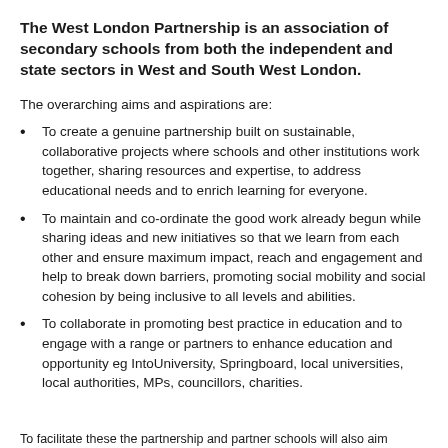The West London Partnership is an association of secondary schools from both the independent and state sectors in West and South West London.
The overarching aims and aspirations are:
To create a genuine partnership built on sustainable, collaborative projects where schools and other institutions work together, sharing resources and expertise, to address educational needs and to enrich learning for everyone.
To maintain and co-ordinate the good work already begun while sharing ideas and new initiatives so that we learn from each other and ensure maximum impact, reach and engagement and help to break down barriers, promoting social mobility and social cohesion by being inclusive to all levels and abilities.
To collaborate in promoting best practice in education and to engage with a range or partners to enhance education and opportunity eg IntoUniversity, Springboard, local universities, local authorities, MPs, councillors, charities.
To facilitate these the partnership and partner schools will also aim